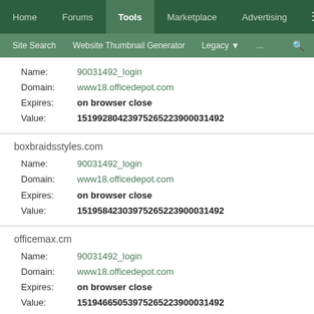Home | Forums | Tools | Marketplace | Advertising | ≡
Site Search | Website Thumbnail Generator | Legacy | ... | 🔍
Name: 90031492_login
Domain: www18.officedepot.com
Expires: on browser close
Value: 15199280423975265223900031492
boxbraidsstyles.com
Name: 90031492_login
Domain: www18.officedepot.com
Expires: on browser close
Value: 15195842303975265223900031492
officemax.cm
Name: 90031492_login
Domain: www18.officedepot.com
Expires: on browser close
Value: 15194665053975265223900031492
cogersonmoviescore.com
Name: 90031492_login
Domain: www18.officedepot.com
Expires: on browser close
Value: 15194516013975265223900031492